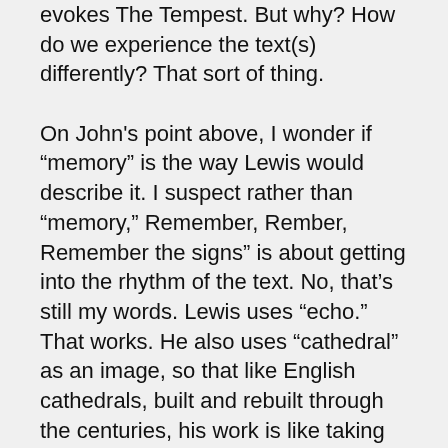evokes The Tempest. But why? How do we experience the text(s) differently? That sort of thing.
On John's point above, I wonder if “memory” is the way Lewis would describe it. I suspect rather than “memory,” Remember, Rember, Remember the signs” is about getting into the rhythm of the text. No, that’s still my words. Lewis uses “echo.” That works. He also uses “cathedral” as an image, so that like English cathedrals, built and rebuilt through the centuries, his work is like taking old-hew stones from the original chapel and reshaping the new one. Or maybe it is as simple as a trust that what God had provided for the jews as a way to pattern